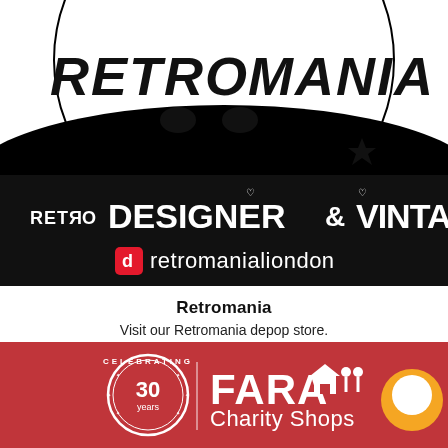[Figure (illustration): Black and white retro-style graphic with large text reading RETRO MANIA at top, illustrated face, black background area with white bold text RETRO DESIGNER & VINTAGE, and a Depop icon with text retromanialiondon below]
Retromania
Visit our Retromania depop store.
SHOP RETROMANIA
[Figure (logo): FARA Charity Shops logo with Celebrating 30 Years circular badge on red background, and orange chat bubble circle on the right]